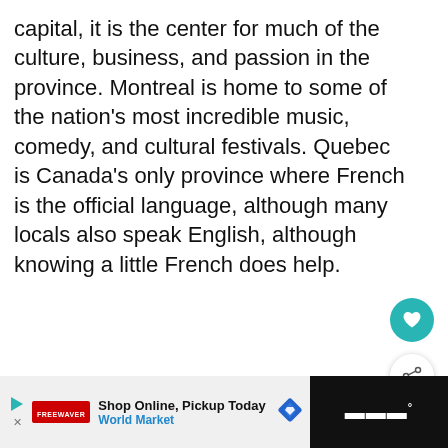capital, it is the center for much of the culture, business, and passion in the province. Montreal is home to some of the nation's most incredible music, comedy, and cultural festivals. Quebec is Canada's only province where French is the official language, although many locals also speak English, although knowing a little French does help.
[Figure (other): Heart/favorite icon button (teal circle with white heart icon)]
[Figure (other): Share icon button (white circle with share icon)]
[Figure (other): What's Next panel with thumbnail image and text: Things To Do in Prince...]
[Figure (other): Advertisement banner: Shop Online, Pickup Today - World Market, with play button, red logo, diamond navigation icon, and dark right panel with Walmart logo]